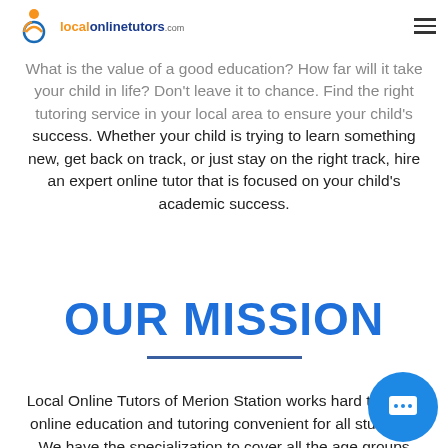localonlinetutors.com
What is the value of a good education? How far will it take your child in life? Don't leave it to chance. Find the right tutoring service in your local area to ensure your child's success. Whether your child is trying to learn something new, get back on track, or just stay on the right track, hire an expert online tutor that is focused on your child's academic success.
OUR MISSION
Local Online Tutors of Merion Station works hard to make online education and tutoring convenient for all students. We have the specialization to cover all the age groups ranging